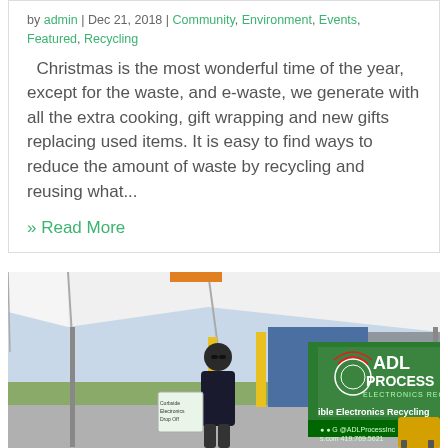by admin | Dec 21, 2018 | Community, Environment, Events, Featured, Recycling
Christmas is the most wonderful time of the year, except for the waste, and e-waste, we generate with all the extra cooking, gift wrapping and new gifts replacing used items. It is easy to find ways to reduce the amount of waste by recycling and reusing what...
» Read More
[Figure (photo): A person standing in front of an ADL Process Electronics Recycling banner under a white tent canopy at an outdoor recycling event.]